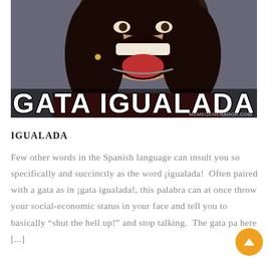[Figure (photo): Meme image of a woman with her mouth open wide, appearing to shout. Bold white text at the bottom reads 'GATA IGUALADA'. Watermark reads 'MEMEGENERADOR.COM'.]
IGUALADA
Few other words in the Spanish language can insult you so specifically and succinctly as the word ¡igualada!  Often paired with a gata as in ¡gata igualada!, this palabra can at once throw your social-economic status in your face and tell you to basically “shut the hell up!” and stop talking.  The gata pa here [...]